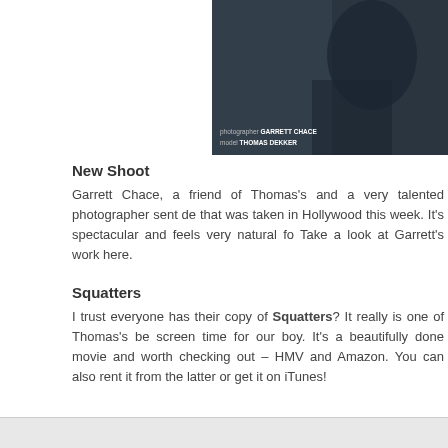[Figure (photo): Photo of Thomas Dekker in a leather jacket, wearing sunglasses, with photographer credit GARRETT CHACE and model credit THOMAS DEKKER overlaid at bottom left.]
New Shoot
Garrett Chace, a friend of Thomas's and a very talented photographer sent de that was taken in Hollywood this week. It's spectacular and feels very natural fo Take a look at Garrett's work here.
Squatters
I trust everyone has their copy of Squatters? It really is one of Thomas's be screen time for our boy. It's a beautifully done movie and worth checking out – HMV and Amazon. You can also rent it from the latter or get it on iTunes!